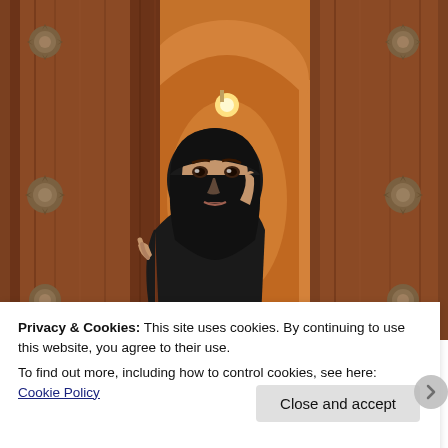[Figure (photo): A woman wearing a black hijab peeks through a large ornate wooden door with metal stud decorations. Behind her is an arched doorway with warm orange/amber lighting. The setting appears to be a historic building, possibly a mosque or traditional Middle Eastern architecture.]
Privacy & Cookies: This site uses cookies. By continuing to use this website, you agree to their use.
To find out more, including how to control cookies, see here: Cookie Policy
Close and accept